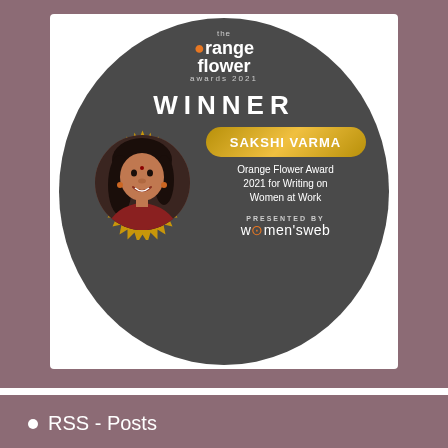[Figure (other): Orange Flower Awards 2021 winner badge for Sakshi Varma. Dark oval/circular badge with gold starburst border around winner's photo, text reading 'the orange flower awards 2021', 'WINNER', 'SAKSHI VARMA' in gold pill, 'Orange Flower Award 2021 for Writing on Women at Work', 'PRESENTED BY women's web']
RSS - Posts